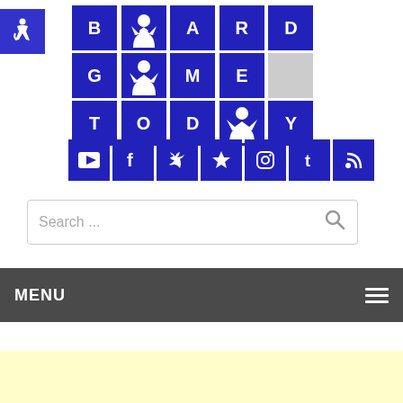[Figure (logo): Accessibility icon button - blue square with white wheelchair symbol]
[Figure (logo): Board Game Today logo - blue tile grid spelling out BOARDGAME TODAY with meeple figures replacing O letters]
[Figure (infographic): Social media icon bar with 7 blue square buttons: YouTube, Facebook, Twitter, star/favorites, Instagram, Tumblr, RSS feed]
Search ...
MENU